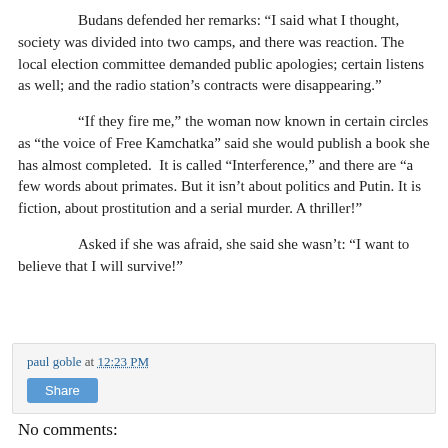Budans defended her remarks: “I said what I thought, society was divided into two camps, and there was reaction. The local election committee demanded public apologies; certain listens as well; and the radio station’s contracts were disappearing.”
“If they fire me,” the woman now known in certain circles as “the voice of Free Kamchatka” said she would publish a book she has almost completed. It is called “Interference,” and there are “a few words about primates. But it isn’t about politics and Putin. It is fiction, about prostitution and a serial murder. A thriller!”
Asked if she was afraid, she said she wasn’t: “I want to believe that I will survive!”
paul goble at 12:23 PM
Share
No comments: